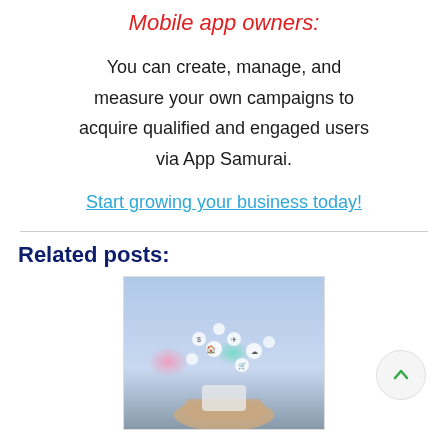Mobile app owners:
You can create, manage, and measure your own campaigns to acquire qualified and engaged users via App Samurai.
Start growing your business today!
Related posts:
[Figure (photo): A hand holding a smartphone with colorful app/technology icons floating above it against a blurred sky background.]